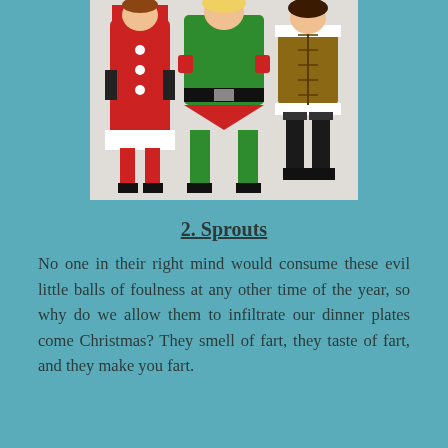[Figure (photo): Three women in Christmas/holiday costumes: left woman in red and white Santa-style dress, center woman in green and red elf costume with black belt, right woman in brown corset-style short dress with white fur trim.]
2. Sprouts
No one in their right mind would consume these evil little balls of foulness at any other time of the year, so why do we allow them to infiltrate our dinner plates come Christmas? They smell of fart, they taste of fart, and they make you fart.